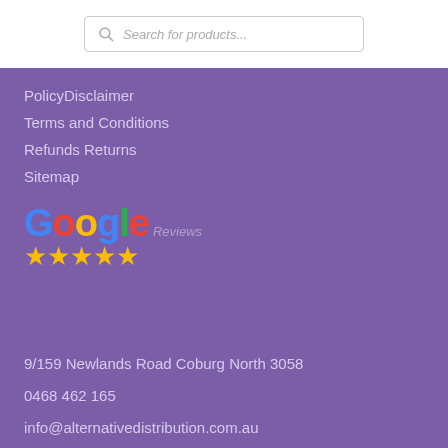[Figure (other): Search bar with magnifying glass icon and italic placeholder text 'Search for products...']
PolicyDisclaimer
Terms and Conditions
Refunds Returns
Sitemap
[Figure (logo): Google Reviews logo with colorful Google text and five gold stars below]
9/159 Newlands Road Coburg North 3058
0468 462 165
info@alternativedistribution.com.au